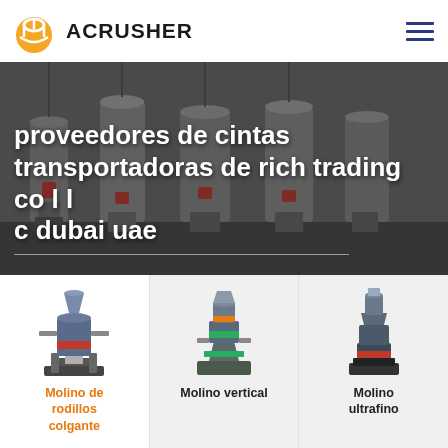ACRUSHER
[Figure (photo): Industrial mining/milling machines in a factory setting — large vertical grinding mills in grey tones]
proveedores de cintas transportadoras de rich trading co l l c dubai uae
[Figure (illustration): Molino de rodillos colgante — a vertical roller/hanging roller mill machine illustration]
Molino de rodillos colgante
[Figure (illustration): Molino vertical — a vertical grinding mill machine illustration]
Molino vertical
[Figure (illustration): Molino ultrafino — an ultrafine grinding mill machine illustration]
Molino ultrafino